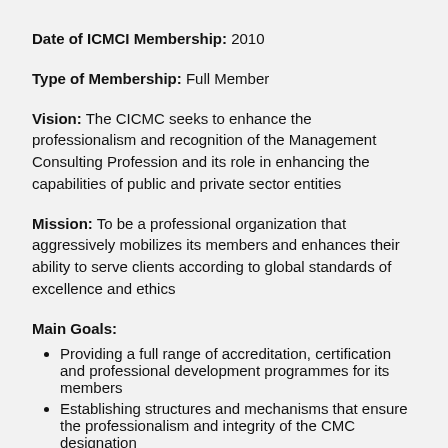Date of ICMCI Membership: 2010
Type of Membership: Full Member
Vision: The CICMC seeks to enhance the professionalism and recognition of the Management Consulting Profession and its role in enhancing the capabilities of public and private sector entities
Mission: To be a professional organization that aggressively mobilizes its members and enhances their ability to serve clients according to global standards of excellence and ethics
Main Goals:
Providing a full range of accreditation, certification and professional development programmes for its members
Establishing structures and mechanisms that ensure the professionalism and integrity of the CMC designation